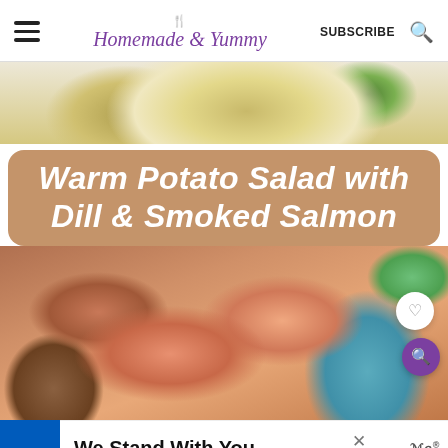Homemade & Yummy — SUBSCRIBE
[Figure (photo): Close-up photo of food (potatoes with dill) on a white plate, partially visible at top]
Warm Potato Salad with Dill & Smoked Salmon
[Figure (photo): Close-up photo of warm potato salad with smoked salmon and dill in a blue bowl, with heart and search icon buttons overlaid]
We Stand With You